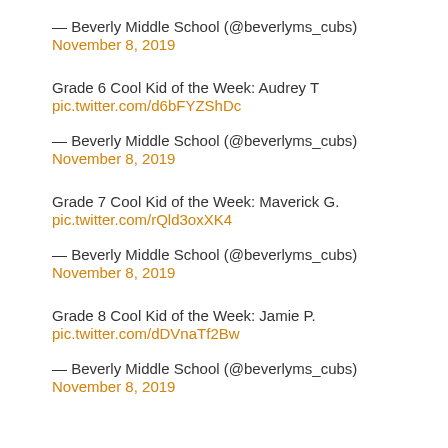— Beverly Middle School (@beverlyms_cubs)
November 8, 2019
Grade 6 Cool Kid of the Week: Audrey T
pic.twitter.com/d6bFYZShDc
— Beverly Middle School (@beverlyms_cubs)
November 8, 2019
Grade 7 Cool Kid of the Week: Maverick G.
pic.twitter.com/rQld3oxXK4
— Beverly Middle School (@beverlyms_cubs)
November 8, 2019
Grade 8 Cool Kid of the Week: Jamie P.
pic.twitter.com/dDVnaTf2Bw
— Beverly Middle School (@beverlyms_cubs)
November 8, 2019